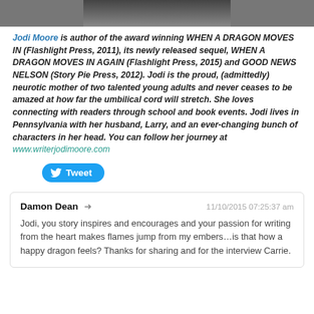[Figure (photo): Partial photo of a person in dark clothing, cropped at top]
Jodi Moore is author of the award winning WHEN A DRAGON MOVES IN (Flashlight Press, 2011), its newly released sequel, WHEN A DRAGON MOVES IN AGAIN (Flashlight Press, 2015) and GOOD NEWS NELSON (Story Pie Press, 2012). Jodi is the proud, (admittedly) neurotic mother of two talented young adults and never ceases to be amazed at how far the umbilical cord will stretch. She loves connecting with readers through school and book events. Jodi lives in Pennsylvania with her husband, Larry, and an ever-changing bunch of characters in her head. You can follow her journey at www.writerjodimoore.com
[Figure (other): Twitter Tweet button]
Damon Dean → 11/10/2015 07:25:37 am
Jodi, you story inspires and encourages and your passion for writing from the heart makes flames jump from my embers…is that how a happy dragon feels? Thanks for sharing and for the interview Carrie.